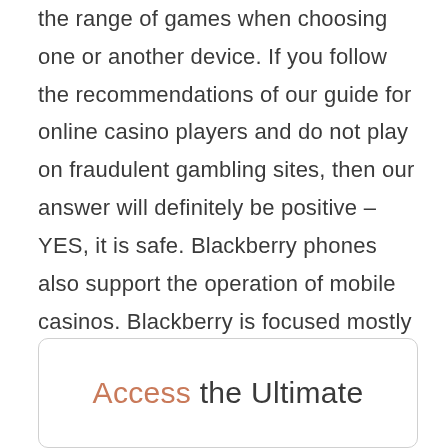the range of games when choosing one or another device. If you follow the recommendations of our guide for online casino players and do not play on fraudulent gambling sites, then our answer will definitely be positive – YES, it is safe. Blackberry phones also support the operation of mobile casinos. Blackberry is focused mostly on poker and uses software that is different from what the iPhone uses.
Access the Ultimate